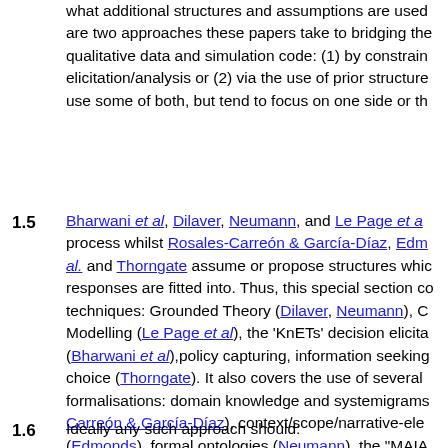what additional structures and assumptions are used are two approaches these papers take to bridging the qualitative data and simulation code: (1) by constrain elicitation/analysis or (2) via the use of prior structure use some of both, but tend to focus on one side or th
1.5  Bharwani et al, Dilaver, Neumann, and Le Page et a process whilst Rosales-Carreón & García-Díaz, Edm al. and Thorngate assume or propose structures whic responses are fitted into. Thus, this special section co techniques: Grounded Theory (Dilaver, Neumann), C Modelling (Le Page et al), the 'KnETs' decision elicita (Bharwani et al),policy capturing, information seeking choice (Thorngate). It also covers the use of several formalisations: domain knowledge and systemigrams Carreón & García-Díaz), context/scope/narrative-ele (Edmonds), formal ontologies (Neumann), the "MAIA (Ghorbani et al.), preferences, sequences, and featur
1.6  Ideally any such approach should: